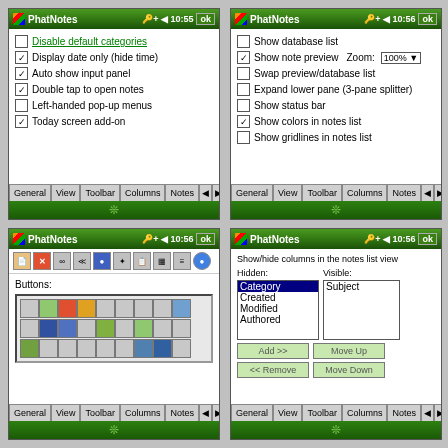[Figure (screenshot): PhatNotes General settings screen with checkboxes: Disable default categories (unchecked, highlighted), Display date only (checked), Auto show input panel (checked), Double tap to open notes (checked), Left-handed pop-up menus (unchecked), Today screen add-on (checked). Tabs at bottom: General, View, Toolbar, Columns, Notes.]
[Figure (screenshot): PhatNotes View settings screen with checkboxes: Show database list (unchecked), Show note preview (checked) with Zoom 100% dropdown, Swap preview/database list (unchecked), Expand lower pane 3-pane splitter (unchecked), Show status bar (unchecked), Show colors in notes list (checked), Show gridlines in notes list (unchecked). Tabs at bottom.]
[Figure (screenshot): PhatNotes Toolbar settings screen showing toolbar icons row and Buttons label with a grid of toolbar button icons.]
[Figure (screenshot): PhatNotes Columns settings screen: Show/hide columns in the notes list view. Hidden list: Category, Created, Modified, Authored. Visible list: Subject. Buttons: Add >>, << Remove, Move Up, Move Down.]